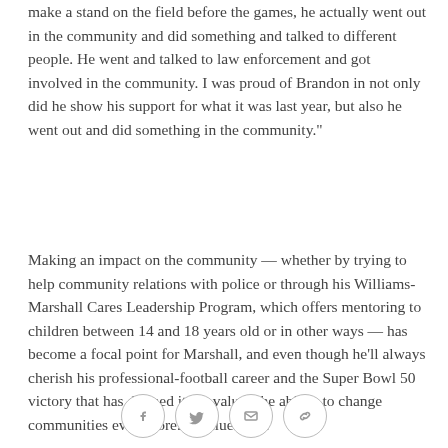make a stand on the field before the games, he actually went out in the community and did something and talked to different people. He went and talked to law enforcement and got involved in the community. I was proud of Brandon in not only did he show his support for what it was last year, but also he went out and did something in the community."
Making an impact on the community — whether by trying to help community relations with police or through his Williams-Marshall Cares Leadership Program, which offers mentoring to children between 14 and 18 years old or in other ways — has become a focal point for Marshall, and even though he'll always cherish his professional-football career and the Super Bowl 50 victory that has defined it, he values the ability to change communities even more. "I value more
[Figure (other): Social sharing icons: Facebook, Twitter, Email, Link/copy]